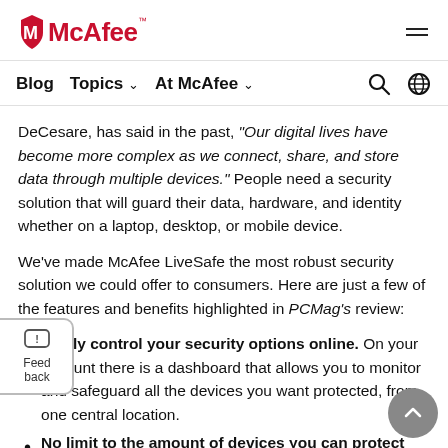McAfee logo and hamburger menu
Blog  Topics  At McAfee  [search] [globe]
DeCesare, has said in the past, “Our digital lives have become more complex as we connect, share, and store data through multiple devices.” People need a security solution that will guard their data, hardware, and identity whether on a laptop, desktop, or mobile device.
We’ve made McAfee LiveSafe the most robust security solution we could offer to consumers. Here are just a few of the features and benefits highlighted in PCMag’s review:
Easily control your security options online. On your account there is a dashboard that allows you to monitor and safeguard all the devices you want protected, from one central location.
No limit to the amount of devices you can protect